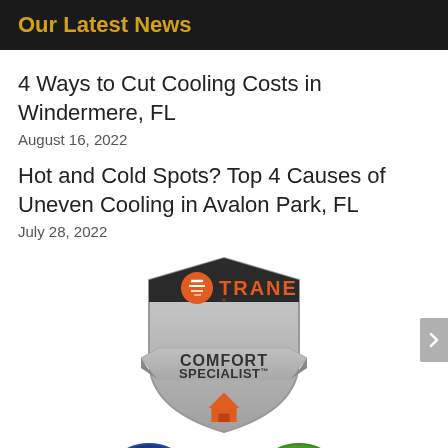Our Latest News
4 Ways to Cut Cooling Costs in Windermere, FL
August 16, 2022
Hot and Cold Spots? Top 4 Causes of Uneven Cooling in Avalon Park, FL
July 28, 2022
[Figure (logo): Trane Comfort Specialist badge - shield shaped logo in silver/grey with orange Trane branding and house icon, text reads COMFORT SPECIALIST]
[Figure (logo): American Technician Excellence certification badge, partially visible at bottom left]
[Figure (logo): Preferred contractor badge, partially visible at bottom right, green circular logo]